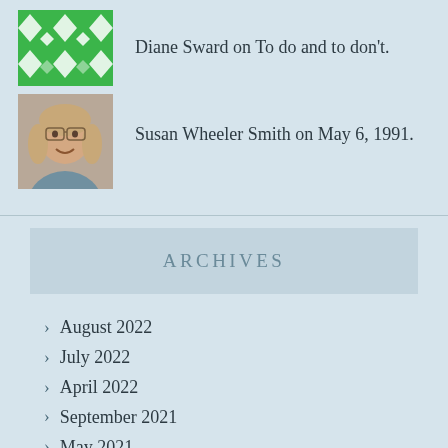Diane Sward on To do and to don't.
Susan Wheeler Smith on May 6, 1991.
ARCHIVES
August 2022
July 2022
April 2022
September 2021
May 2021
October 2020
August 2020
June 2020